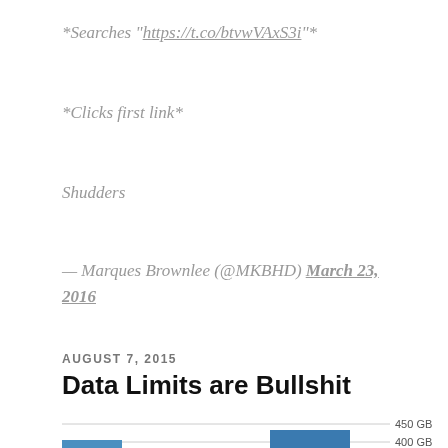*Searches "https://t.co/btvwVAxS3i"*
*Clicks first link*
Shudders
— Marques Brownlee (@MKBHD) March 23, 2016
AUGUST 7, 2015
Data Limits are Bullshit
[Figure (bar-chart): Partial bar chart visible at bottom of page showing 450 GB and 400 GB gridlines with two bars partially visible]